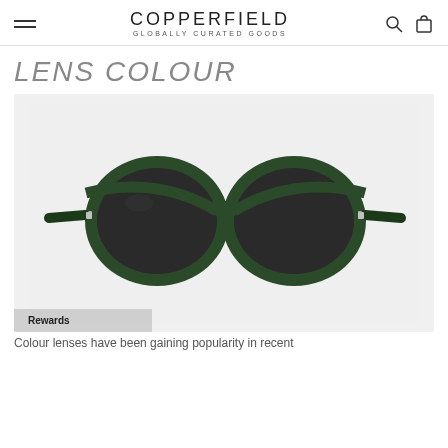COPPERFIELD GLOBALLY CURATED GOODS
LENS COLOUR
[Figure (photo): Front-facing view of round sunglasses with dark green/forest green thick acetate frames and dark grey/black lenses, displayed against a light grey background.]
Rewards
Colour lenses have been gaining popularity in recent